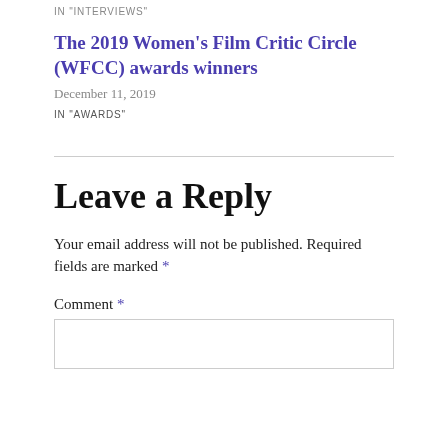IN "INTERVIEWS"
The 2019 Women's Film Critic Circle (WFCC) awards winners
December 11, 2019
IN "AWARDS"
Leave a Reply
Your email address will not be published. Required fields are marked *
Comment *